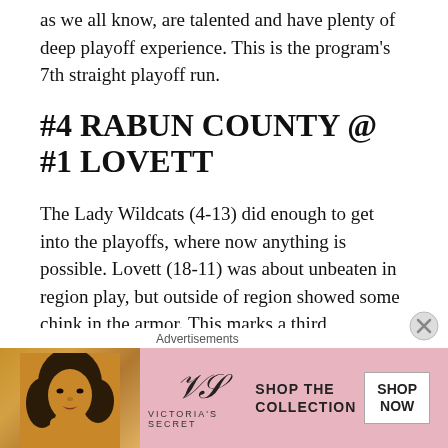as we all know, are talented and have plenty of deep playoff experience. This is the program's 7th straight playoff run.
#4 RABUN COUNTY @ #1 LOVETT
The Lady Wildcats (4-13) did enough to get into the playoffs, where now anything is possible. Lovett (18-11) was about unbeaten in region play, but outside of region showed some chink in the armor. This marks a third consecutive postseason run for Rabun.
#3 UNION COUNTY @ #2 PACE
[Figure (photo): Victoria's Secret advertisement with a woman's photo on the left, VS logo in center-left, 'SHOP THE COLLECTION' text and 'SHOP NOW' button on the right, on a pink background.]